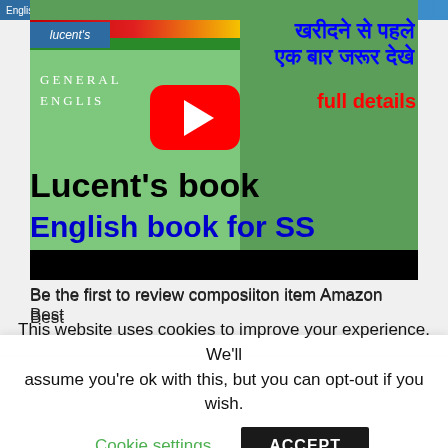[Figure (screenshot): Screenshot of a YouTube video thumbnail showing Lucent's General English book review. The thumbnail has a green book cover with red/yellow stripes, Hindi text in blue 'खरीदने से पहले एक बार जरूर देखे', a YouTube play button, red text 'full details', bold black text 'Lucent's book', and blue text 'English book for SS'. Below the video thumbnail is text: 'Be the first to review composiiton item Amazon Best']
Be the first to review composiiton item Amazon Best
This website uses cookies to improve your experience. We'll assume you're ok with this, but you can opt-out if you wish. Cookie settings ACCEPT